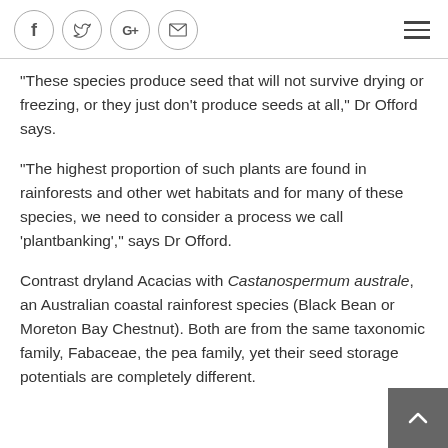Social share icons and navigation menu
"These species produce seed that will not survive drying or freezing, or they just don't produce seeds at all," Dr Offord says.
"The highest proportion of such plants are found in rainforests and other wet habitats and for many of these species, we need to consider a process we call 'plantbanking'," says Dr Offord.
Contrast dryland Acacias with Castanospermum australe, an Australian coastal rainforest species (Black Bean or Moreton Bay Chestnut). Both are from the same taxonomic family, Fabaceae, the pea family, yet their seed storage potentials are completely different.